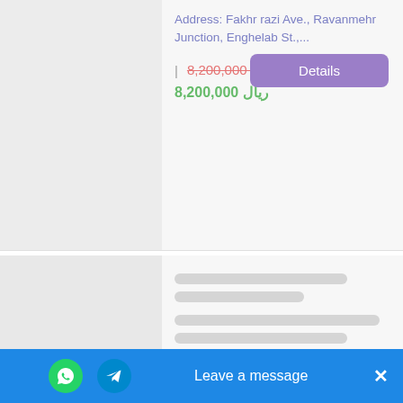Address: Fakhr razi Ave., Ravanmehr Junction, Enghelab St.,...
8,200,000 ﷼ (original price, strikethrough)
ریال 8,200,000 (current price in green)
[Figure (screenshot): Details button (purple)]
[Figure (screenshot): Hotel listing card with blurred/loading content]
Safir Hotel Tehran
Tehran
[Figure (screenshot): 3.5 star rating with red stars]
iranhotels
Leave a message
[Figure (screenshot): Bottom blue bar with WhatsApp and Telegram icons and Leave a message button]